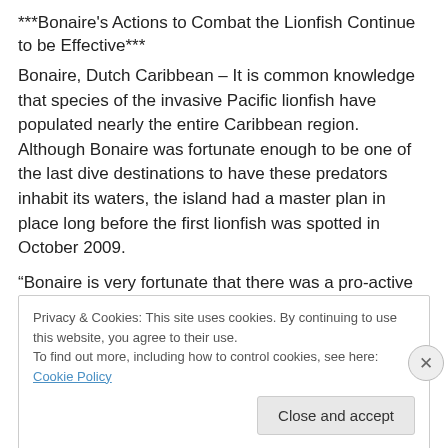***Bonaire's Actions to Combat the Lionfish Continue to be Effective***
Bonaire, Dutch Caribbean – It is common knowledge that species of the invasive Pacific lionfish have populated nearly the entire Caribbean region. Although Bonaire was fortunate enough to be one of the last dive destinations to have these predators inhabit its waters, the island had a master plan in place long before the first lionfish was spotted in October 2009.
“Bonaire is very fortunate that there was a pro-active
Privacy & Cookies: This site uses cookies. By continuing to use this website, you agree to their use.
To find out more, including how to control cookies, see here: Cookie Policy